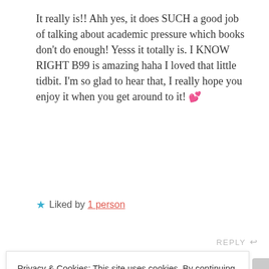It really is!! Ahh yes, it does SUCH a good job of talking about academic pressure which books don't do enough! Yesss it totally is. I KNOW RIGHT B99 is amazing haha I loved that little tidbit. I'm so glad to hear that, I really hope you enjoy it when you get around to it! 💕
★ Liked by 1 person
REPLY ↩
Privacy & Cookies: This site uses cookies. By continuing to use this website, you agree to their use.
To find out more, including how to control cookies, see here: Cookie Policy
Close and accept